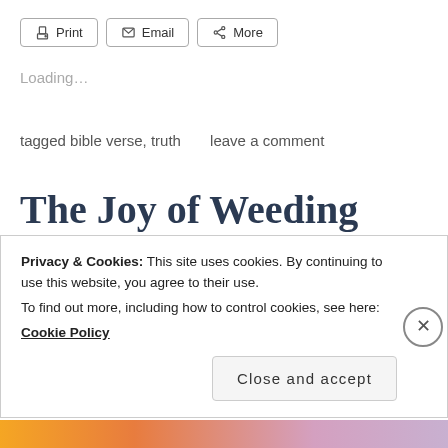[Figure (screenshot): Toolbar with Print, Email, and More buttons]
Loading...
tagged bible verse, truth      leave a comment
The Joy of Weeding
august 30, 2018, posted in appreciation, battles, contemplations, contentment, god, jesus, joy, work
Privacy & Cookies: This site uses cookies. By continuing to use this website, you agree to their use.
To find out more, including how to control cookies, see here:
Cookie Policy
Close and accept